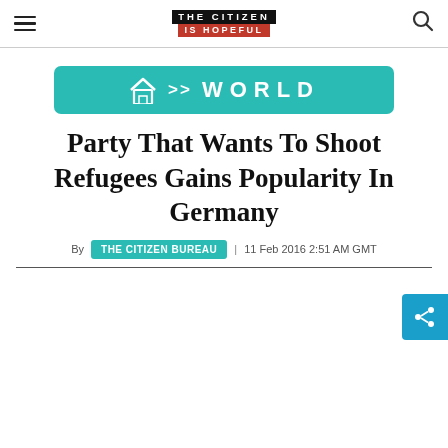THE CITIZEN IS HOPEFUL
[Figure (illustration): Teal breadcrumb navigation bar with home icon, >> arrows, and WORLD text]
Party That Wants To Shoot Refugees Gains Popularity In Germany
By THE CITIZEN BUREAU | 11 Feb 2016 2:51 AM GMT